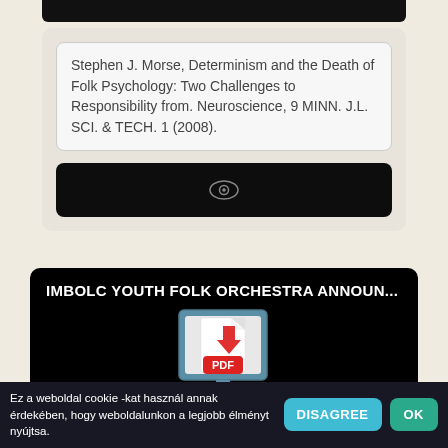Stephen J. Morse, Determinism and the Death of Folk Psychology: Two Challenges to Responsibility from. Neuroscience, 9 MINN. J.L. SCI. & TECH. 1 (2008).
[Figure (other): Dark bar with an eye icon (visibility/preview button)]
IMBOLC YOUTH FOLK ORCHESTRA ANNOUN...
[Figure (illustration): Computer monitor icon showing a PDF download illustration with a red downward arrow and a red 'PDF' label badge]
Ez a weboldal cookie -kat használ annak érdekében, hogy weboldalunkon a legjobb élményt nyújtsa.